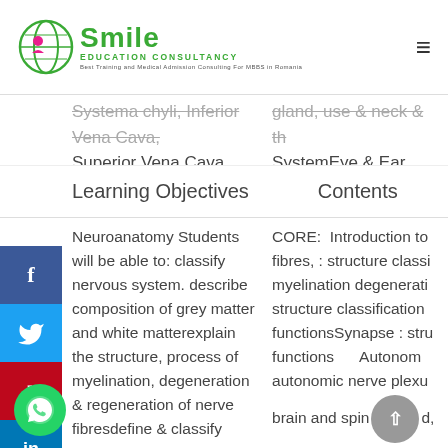[Figure (logo): Smile Education Consultancy logo with globe graphic, green text]
Systema chyli, Inferior Vena Cava, Superior Vena Cava, Portal Vein, Brachiocephalic veins, & Renal veins.
gland, use & neck & the SystemEye & Ear  Add Lymphatic SystemVasc
Learning Objectives
Contents
Neuroanatomy Students will be able to: classify nervous system. describe composition of grey matter and white matterexplain the structure, process of myelination, degeneration & regeneration of nerve fibresdefine & classify synapse, receptors .describe the structure & functions of receptor &
CORE:  Introduction to fibres, : structure classification myelination degeneration structure classification functionsSynapse : structure functions  Autonomic autonomic nerve plexus brain and spinal cord, mater Extension, folds